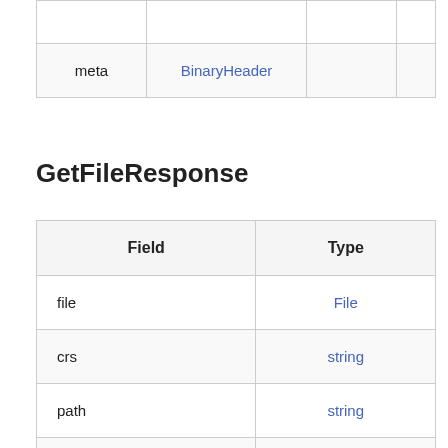|  |  |  |  |
| --- | --- | --- | --- |
| meta | BinaryHeader |  |  |
GetFileResponse
| Field | Type |
| --- | --- |
| file | File |
| crs | string |
| path | string |
| survey_name | string |
| last_step | string |